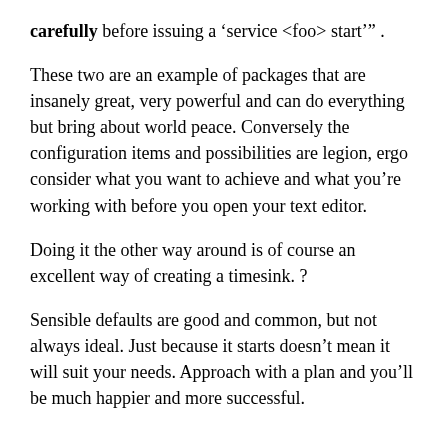carefully before issuing a ‘service <foo> start’” .
These two are an example of packages that are insanely great, very powerful and can do everything but bring about world peace. Conversely the configuration items and possibilities are legion, ergo consider what you want to achieve and what you’re working with before you open your text editor.
Doing it the other way around is of course an excellent way of creating a timesink. ?
Sensible defaults are good and common, but not always ideal. Just because it starts doesn’t mean it will suit your needs. Approach with a plan and you’ll be much happier and more successful.